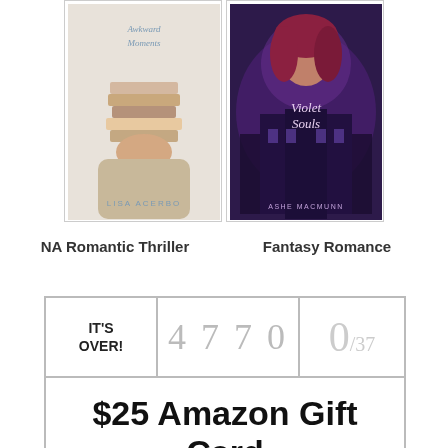[Figure (illustration): Two book covers side by side: left is 'Awkward Moments' by Lisa Acerbo (NA Romantic Thriller), right is 'Violet Souls' by Ashe MacMunn (Fantasy Romance), shown with white bordered frames]
NA Romantic Thriller
Fantasy Romance
| IT'S OVER! | 4770 | 0/37 |
| --- | --- | --- |
| $25 Amazon Gift Card |  |  |